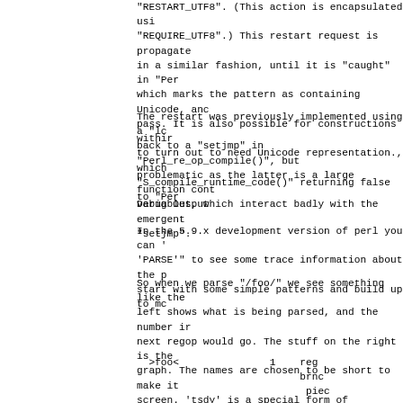"RESTART_UTF8".  (This action is encapsulated usi "REQUIRE_UTF8".) This restart request is propagate in a similar fashion, until it is "caught" in "Per which marks the pattern as containing Unicode, anc pass. It is also possible for constructions withir to turn out to need Unicode representation., which "S_compile_runtime_code()" returning false to "Per
The restart was previously implemented using a "lc back to a "setjmp" in "Perl_re_op_compile()", but problematic as the latter is a large function cont variables, which interact badly with the emergent "setjmp".
Debug Output
In the 5.9.x development version of perl you can ' 'PARSE'" to see some trace information about the p start with some simple patterns and build up to mc
So when we parse "/foo/" we see something like the left shows what is being parsed, and the number ir next regop would go. The stuff on the right is the graph. The names are chosen to be short to make it screen. 'tsdy' is a special form of "regtail()" wh analysis.
>foo<               1    reg
                           brnc
                            piec